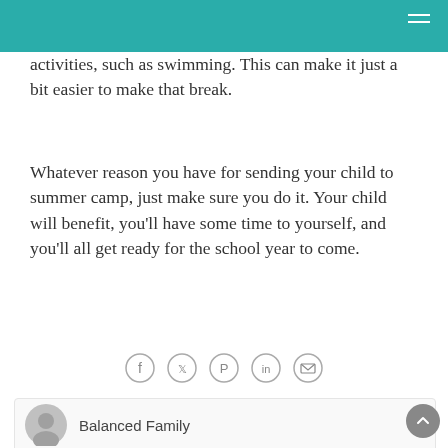activities, such as swimming. This can make it just a bit easier to make that break.
Whatever reason you have for sending your child to summer camp, just make sure you do it. Your child will benefit, you’ll have some time to yourself, and you’ll all get ready for the school year to come.
[Figure (infographic): Row of five social sharing icon circles: Facebook, Twitter, Pinterest, LinkedIn, Email]
Balanced Family